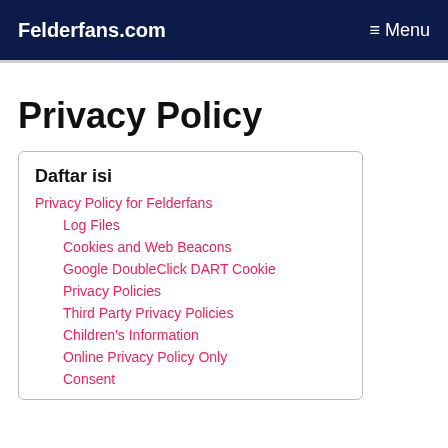Felderfans.com   ≡ Menu
Privacy Policy
Daftar isi
Privacy Policy for Felderfans
Log Files
Cookies and Web Beacons
Google DoubleClick DART Cookie
Privacy Policies
Third Party Privacy Policies
Children's Information
Online Privacy Policy Only
Consent